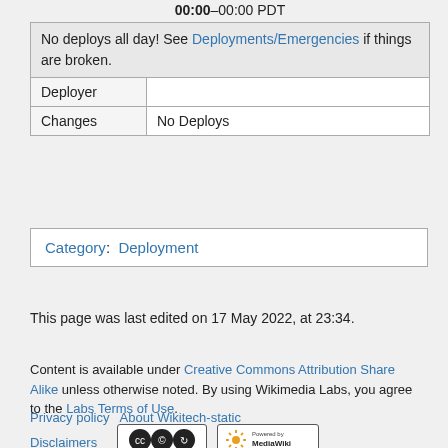00:00–00:00 PDT
| No deploys all day! See Deployments/Emergencies if things are broken. |
| Deployer |  |
| Changes | No Deploys |
Category: Deployment
This page was last edited on 17 May 2022, at 23:34.
Content is available under Creative Commons Attribution Share Alike unless otherwise noted. By using Wikimedia Labs, you agree to the Labs Terms of Use.
Privacy policy   About Wikitech-static
Disclaimers